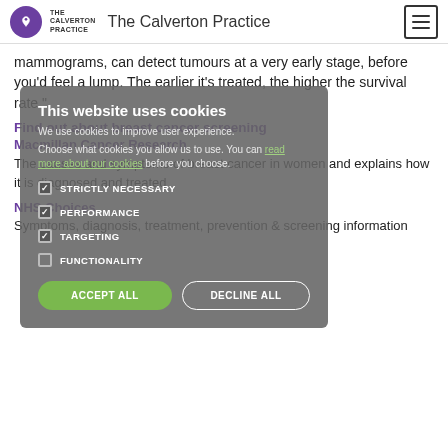The Calverton Practice
mammograms, can detect tumours at a very early stage, before you'd feel a lump. The earlier it's treated, the higher the survival rate."
Find out about breast cancer screening
Macmillan Cancer Research
The causes and symptoms of breast cancer in women and explains how it is diagnosed and treated
NHS Choices
Symptoms, diagnosis, treatment, prevention & screening information
[Figure (screenshot): Cookie consent overlay with title 'This website uses cookies', description text about cookies and user experience, checkboxes for STRICTLY NECESSARY, PERFORMANCE, TARGETING, FUNCTIONALITY, and two buttons: ACCEPT ALL and DECLINE ALL]